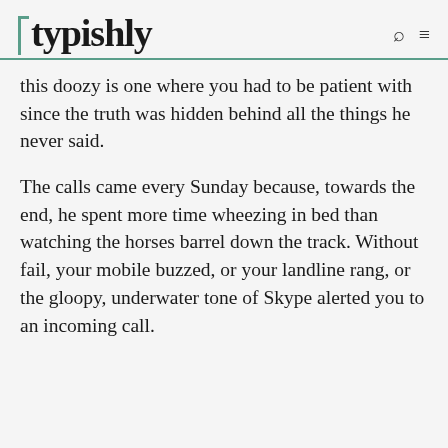typishly
this doozy is one where you had to be patient with since the truth was hidden behind all the things he never said.
The calls came every Sunday because, towards the end, he spent more time wheezing in bed than watching the horses barrel down the track. Without fail, your mobile buzzed, or your landline rang, or the gloopy, underwater tone of Skype alerted you to an incoming call.